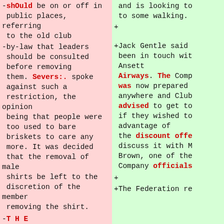-shOuld be on or off in public places, referring to the old club
-by-law that leaders should be consulted before removing them. Severs:. spoke against such a restriction, the opinion being that people were too used to bare briskets to care any more. It was decided that the removal of male shirts be left to the discretion of the member removing the shirt.
-T H E
-SANITARIUM
and is looking to to some walking.
+Jack Gentle said been in touch wit Ansett Airways. The Comp was now prepared anywhere and Club advised to get to if they wished to advantage of the discount offe discuss it with M Brown, one of the Company officials
+
+The Federation re